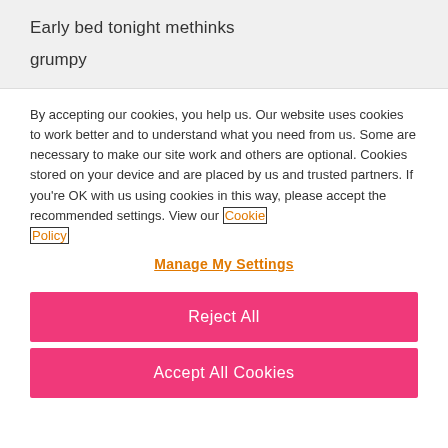Early bed tonight methinks
grumpy
By accepting our cookies, you help us. Our website uses cookies to work better and to understand what you need from us. Some are necessary to make our site work and others are optional. Cookies stored on your device and are placed by us and trusted partners. If you're OK with us using cookies in this way, please accept the recommended settings. View our Cookie Policy
Manage My Settings
Reject All
Accept All Cookies